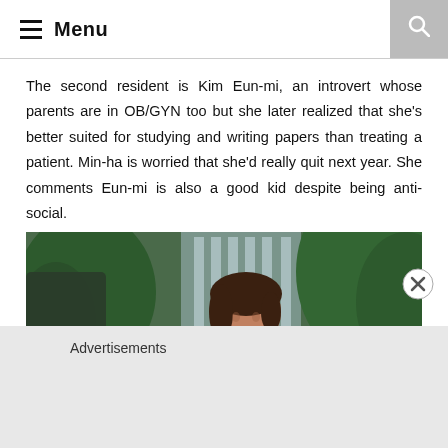Menu
The second resident is Kim Eun-mi, an introvert whose parents are in OB/GYN too but she later realized that she's better suited for studying and writing papers than treating a patient. Min-ha is worried that she'd really quit next year. She comments Eun-mi is also a good kid despite being anti-social.
[Figure (photo): A smiling woman with short brown hair wearing a teal/blue top, photographed outdoors with green trees in the background. A partial figure is visible on the left side of the frame.]
Advertisements